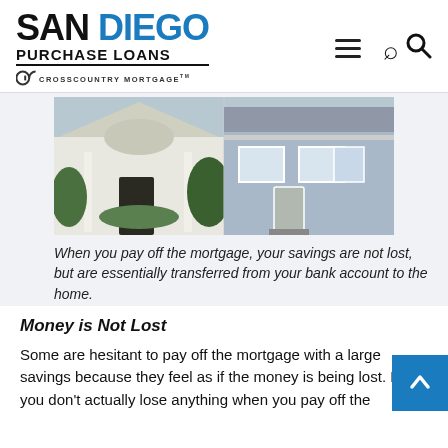SAN DIEGO PURCHASE LOANS | CrossCountry Mortgage
[Figure (photo): Two houses side by side: left is a white craftsman-style home with columns and lush greenery, right is a light blue house with a porch and white trim.]
When you pay off the mortgage, your savings are not lost, but are essentially transferred from your bank account to the home.
Money is Not Lost
Some are hesitant to pay off the mortgage with a large savings because they feel as if the money is being lost. But you don't actually lose anything when you pay off the